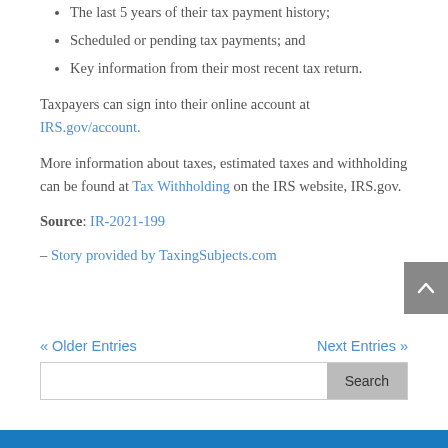The last 5 years of their tax payment history;
Scheduled or pending tax payments; and
Key information from their most recent tax return.
Taxpayers can sign into their online account at IRS.gov/account.
More information about taxes, estimated taxes and withholding can be found at Tax Withholding on the IRS website, IRS.gov.
Source: IR-2021-199
– Story provided by TaxingSubjects.com
« Older Entries    Next Entries »